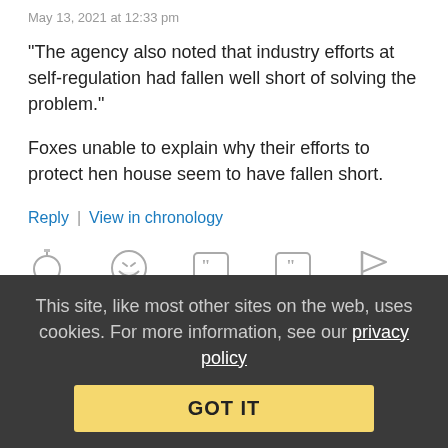May 13, 2021 at 12:33 pm
"The agency also noted that industry efforts at self-regulation had fallen well short of solving the problem."
Foxes unable to explain why their efforts to protect hen house seem to have fallen short.
Reply | View in chronology
[Figure (infographic): Row of five reaction/action icons: lightbulb, laughing face, quote bubble with open-quote, quote bubble with close-quote, flag]
Anonymous Coward   May 13, 2021 at 12:41 pm
This site, like most other sites on the web, uses cookies. For more information, see our privacy policy
GOT IT